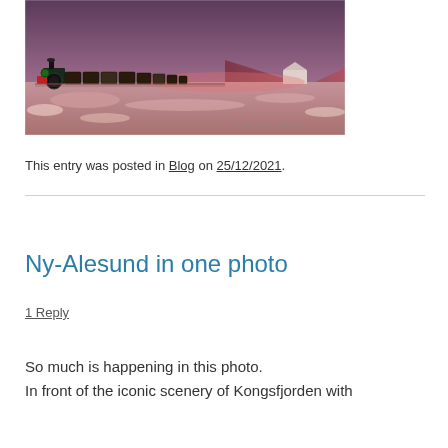[Figure (photo): A vintage steam locomotive pulling freight cars through a pink/purple Arctic landscape at dusk, with snow and mountains in the background. The sky is a deep mauve/purple color.]
This entry was posted in Blog on 25/12/2021.
Ny-Alesund in one photo
1 Reply
So much is happening in this photo.
In front of the iconic scenery of Kongsfjorden with